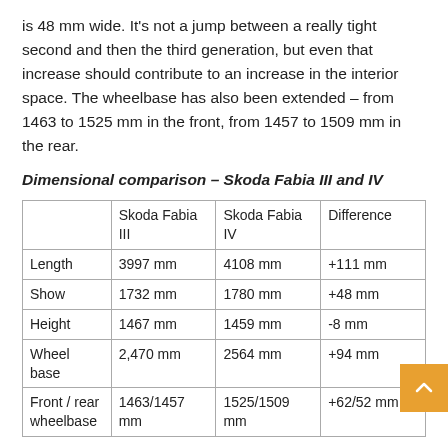is 48 mm wide. It's not a jump between a really tight second and then the third generation, but even that increase should contribute to an increase in the interior space. The wheelbase has also been extended – from 1463 to 1525 mm in the front, from 1457 to 1509 mm in the rear.
Dimensional comparison – Skoda Fabia III and IV
|  | Skoda Fabia III | Skoda Fabia IV | Difference |
| --- | --- | --- | --- |
| Length | 3997 mm | 4108 mm | +111 mm |
| Show | 1732 mm | 1780 mm | +48 mm |
| Height | 1467 mm | 1459 mm | -8 mm |
| Wheel base | 2,470 mm | 2564 mm | +94 mm |
| Front / rear wheelbase | 1463/1457 mm | 1525/1509 mm | +62/52 mm |